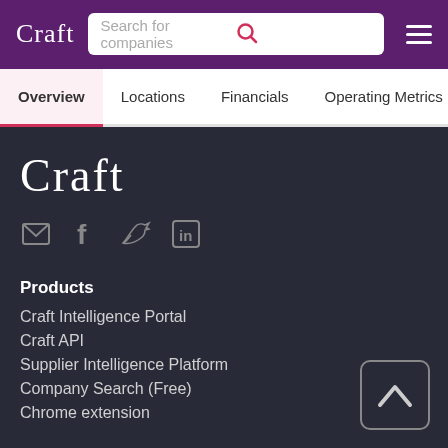Craft — Search for companies
Overview | Locations | Financials | Operating Metrics | Key P
[Figure (logo): Craft logo in large white text on dark background]
Products
Craft Intelligence Portal
Craft API
Supplier Intelligence Platform
Company Search (Free)
Chrome extension